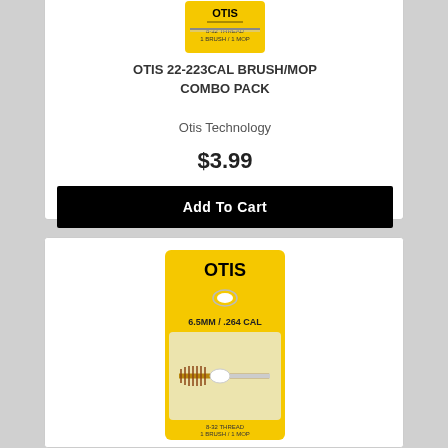[Figure (photo): Otis gun cleaning brush/mop combo pack product image (top portion, yellow packaging)]
OTIS 22-223CAL BRUSH/MOP COMBO PACK
Otis Technology
$3.99
Add To Cart
[Figure (photo): Otis 6.5MM/.264 CAL gun cleaning brush/mop combo pack product in yellow packaging with brush and mop visible]